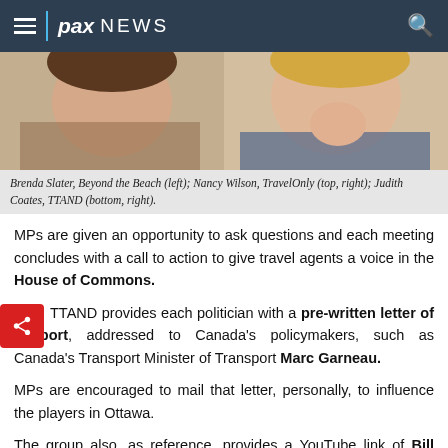pax NEWS
[Figure (photo): Photo of two women: Brenda Slater (left) and Nancy Wilson/Judith Coates (right)]
Brenda Slater, Beyond the Beach (left); Nancy Wilson, TravelOnly (top, right); Judith Coates, TTAND (bottom, right).
MPs are given an opportunity to ask questions and each meeting concludes with a call to action to give travel agents a voice in the House of Commons.
TTAND provides each politician with a pre-written letter of support, addressed to Canada's policymakers, such as Canada's Transport Minister of Transport Marc Garneau.
MPs are encouraged to mail that letter, personally, to influence the players in Ottawa.
The group also, as reference, provides a YouTube link of Bill Shorten, a Federal Member for Maribyrnong, in Australia